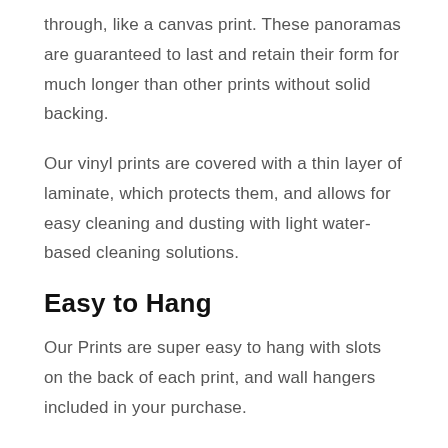through, like a canvas print. These panoramas are guaranteed to last and retain their form for much longer than other prints without solid backing.
Our vinyl prints are covered with a thin layer of laminate, which protects them, and allows for easy cleaning and dusting with light water-based cleaning solutions.
Easy to Hang
Our Prints are super easy to hang with slots on the back of each print, and wall hangers included in your purchase.
Watch a Quick Video About Our Prints